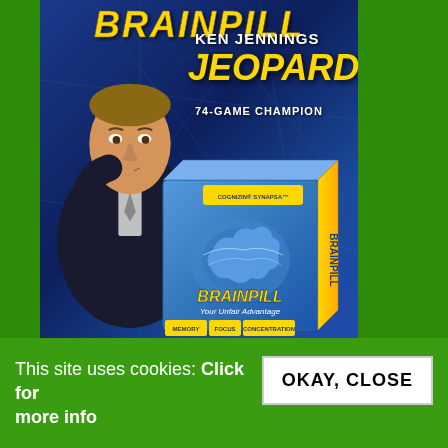[Figure (photo): Advertisement for BrainPill supplement featuring Ken Jennings (Jeopardy 74-game champion). Shows a man in suit with hand on chin, posing next to a product box labeling BrainPill as 'Your Unfair Advantage' with Memory, Focus, Concentration, Mood benefits. Blue background with neural network graphics. Green foliage visible on sides.]
This site uses cookies: Click for more info OKAY, CLOSE